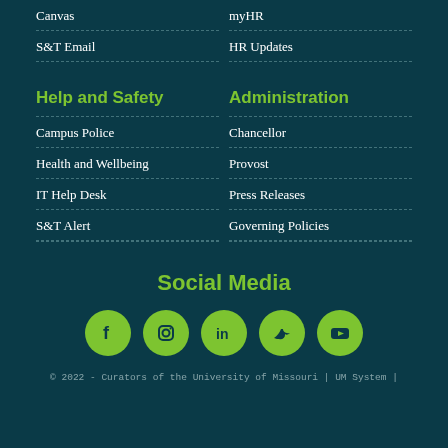Canvas
myHR
S&T Email
HR Updates
Help and Safety
Administration
Campus Police
Chancellor
Health and Wellbeing
Provost
IT Help Desk
Press Releases
S&T Alert
Governing Policies
Social Media
[Figure (infographic): Row of five green circular social media icons: Facebook, Instagram, LinkedIn, Twitter, YouTube]
© 2022 - Curators of the University of Missouri | UM System |